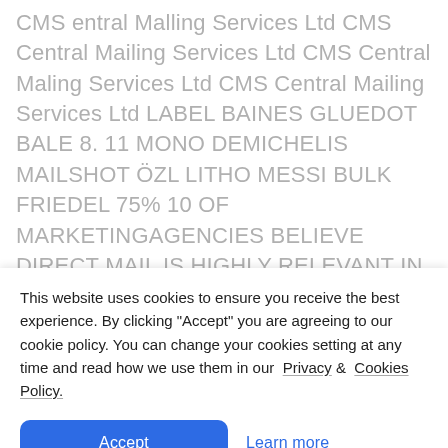CMS entral Malling Services Ltd CMS Central Mailing Services Ltd CMS Central Maling Services Ltd CMS Central Mailing Services Ltd LABEL BAINES GLUEDOT BALE 8. 11 MONO DEMICHELIS MAILSHOT ÖZL LITHO MESSI BULK FRIEDEL 75% 10 OF MARKETINGAGENCIES BELIEVE DIRECT MAIL IS HIGHLY RELEVANT IN THE "DIGITAL WORLD" JIFFY TERRY 21.7% FRANKING RIBERY ROBIN VAN-PARCEL OF DIRECT MAIL RECIPIENTS VISITED A COMPANY'S WEBSITE JOLEON LESS COST CONCERTINA RONALDO PREFERRED OVER HIGH OPEN RATE E-MAIL TRUSTWORTHY INCREASES WEB TRAFFIC TANGIBLE HIGH RESPONSE RATES LONG SHELF LIKED BY, CONSUMERS LIFE
This website uses cookies to ensure you receive the best experience. By clicking "Accept" you are agreeing to our cookie policy. You can change your cookies setting at any time and read how we use them in our Privacy & Cookies Policy.
Accept
Learn more